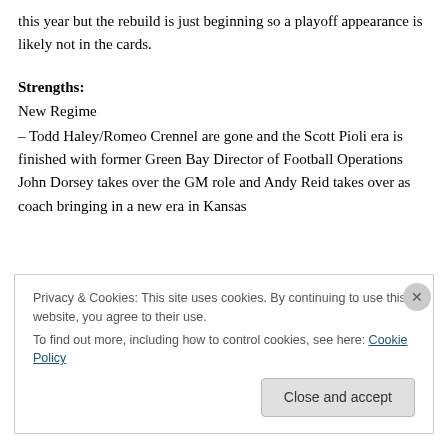this year but the rebuild is just beginning so a playoff appearance is likely not in the cards.
Strengths:
New Regime
– Todd Haley/Romeo Crennel are gone and the Scott Pioli era is finished with former Green Bay Director of Football Operations John Dorsey takes over the GM role and Andy Reid takes over as coach bringing in a new era in Kansas
Privacy & Cookies: This site uses cookies. By continuing to use this website, you agree to their use.
To find out more, including how to control cookies, see here: Cookie Policy
Close and accept